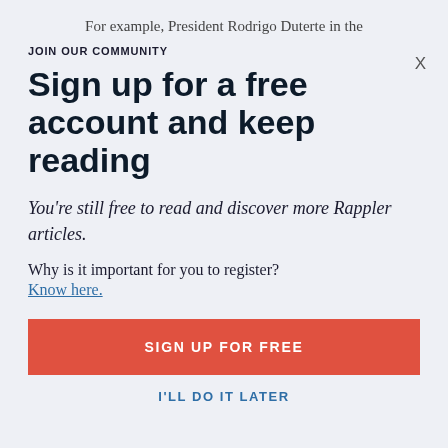For example, President Rodrigo Duterte in the
X
JOIN OUR COMMUNITY
Sign up for a free account and keep reading
You're still free to read and discover more Rappler articles.
Why is it important for you to register?
Know here.
SIGN UP FOR FREE
I'LL DO IT LATER